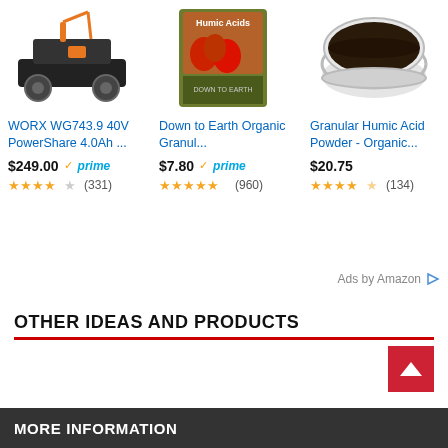[Figure (screenshot): Amazon product ad: WORX WG743.9 40V PowerShare 4.0Ah lawn mower photo, priced $249.00 with Prime badge, 3.5 stars, 331 reviews]
[Figure (screenshot): Amazon product ad: Down to Earth Organic Granular fertilizer bag with Humic Acids label and tomatoes graphic, priced $7.80 with Prime badge, 5 stars, 960 reviews]
[Figure (screenshot): Amazon product ad: Granular Humic Acid Powder - Organic, glass bowl with dark powder, priced $20.75, 4.5 stars, 134 reviews]
Ads by Amazon
OTHER IDEAS AND PRODUCTS
MORE INFORMATION